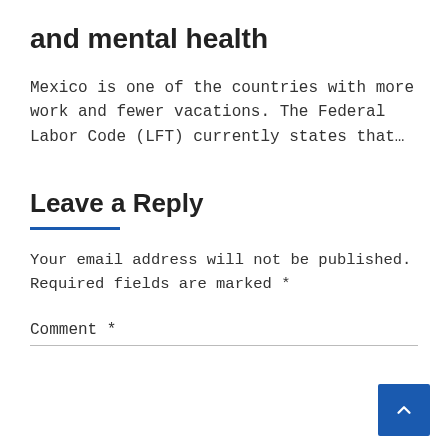and mental health
Mexico is one of the countries with more work and fewer vacations. The Federal Labor Code (LFT) currently states that…
Leave a Reply
Your email address will not be published. Required fields are marked *
Comment *